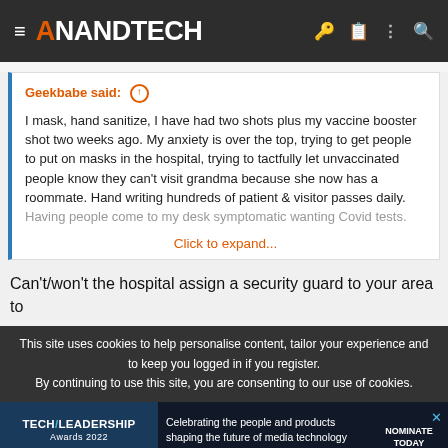AnandTech
Geekbabe said: ↑
I mask, hand sanitize, I have had two shots plus my vaccine booster shot two weeks ago. My anxiety is over the top, trying to get people to put on masks in the hospital, trying to tactfully let unvaccinated people know they can't visit grandma because she now has a roommate. Hand writing hundreds of patient & visitor passes daily. Having people come to my desk symptomatic wanting Covid tests.
Click to expand...
Can't/won't the hospital assign a security guard to your area to
This site uses cookies to help personalise content, tailor your experience and to keep you logged in if you register.
By continuing to use this site, you are consenting to our use of cookies.
[Figure (screenshot): Tech Leadership Awards 2022 advertisement banner with 'Nominate Today' call to action]